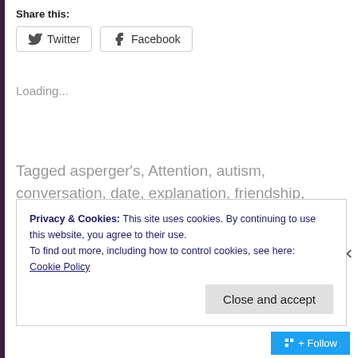Share this:
[Figure (other): Twitter and Facebook social share buttons]
Loading...
Tagged asperger's, Attention, autism, conversation, date, explanation, friendship, ignorance, listen, loud, outside, partner, Poetry, privacy, rude, sensory overload, sidelines, social gathering, society, understanding
Privacy & Cookies: This site uses cookies. By continuing to use this website, you agree to their use.
To find out more, including how to control cookies, see here:
Cookie Policy
Close and accept